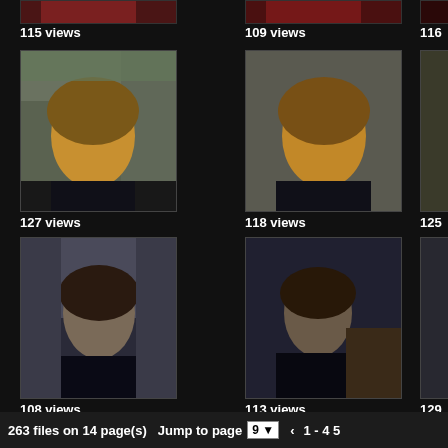[Figure (screenshot): Gallery grid of video thumbnails showing medieval/fantasy scenes with actor portraits, each labeled with view counts. Row 1 partial: 115 views, 109 views, 116 views (cut off). Row 2: 127 views, 118 views, 125 views (cut off). Row 3: 108 views, 113 views, 129 views (cut off). Row 4 partial: 106 views, 108 views, 116 views (cut off). Footer: 263 files on 14 page(s) Jump to page 9 dropdown, 1-4 5 pagination.]
263 files on 14 page(s)  Jump to page  9  1 - 4  5